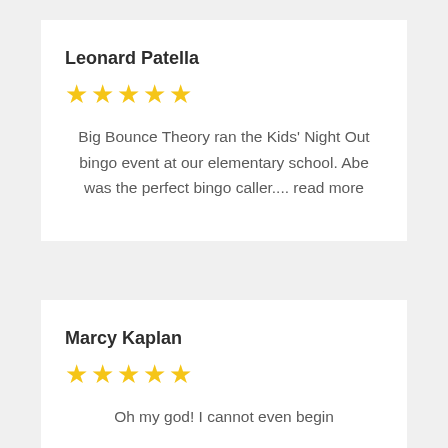Leonard Patella
★★★★★
Big Bounce Theory ran the Kids' Night Out bingo event at our elementary school. Abe was the perfect bingo caller.... read more
Marcy Kaplan
★★★★★
Oh my god! I cannot even begin